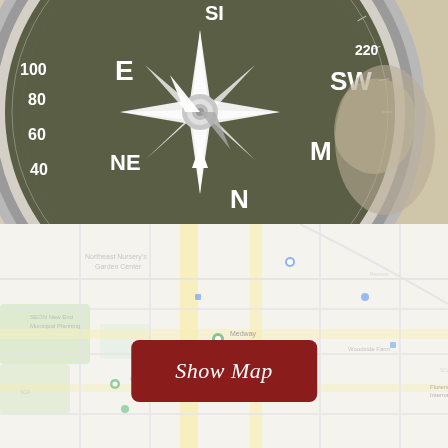[Figure (photo): Close-up photograph of a vintage brass compass with dark olive/green face showing cardinal and ordinal directions (N, NE, E, SE, S, SW, W, NW) and degree markings (40, 60, 80, 100, 220, etc.), with a metallic needle, surrounded by sepia-toned background.]
[Figure (screenshot): Blurred Google Maps screenshot showing street map with roads, green areas, location pins, and place names (partially legible).]
Show Map